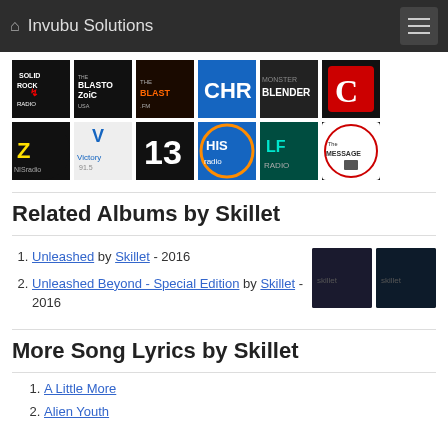Invubu Solutions
[Figure (other): Grid of 12 radio station logos: Solid Rock Radio, BlastoZoic USA, TheBLAST.FM, CHR (radio), Blender, C (red logo), NIS Radio, Victory 91.5, 13 (radio), HIS radio, LF Radio, The Message (radio)]
Related Albums by Skillet
Unleashed by Skillet - 2016
Unleashed Beyond - Special Edition by Skillet - 2016
[Figure (photo): Two album cover thumbnails for Skillet's Unleashed albums]
More Song Lyrics by Skillet
A Little More
Alien Youth